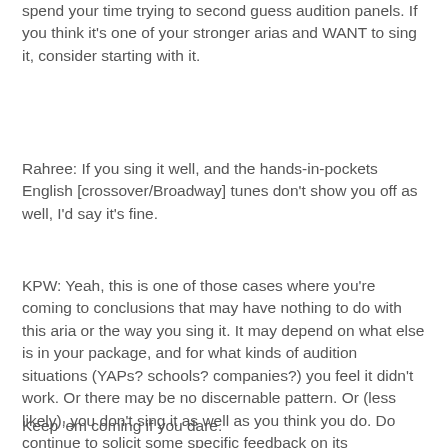spend your time trying to second guess audition panels. If you think it's one of your stronger arias and WANT to sing it, consider starting with it.
Rahree: If you sing it well, and the hands-in-pockets English [crossover/Broadway] tunes don't show you off as well, I'd say it's fine.
KPW: Yeah, this is one of those cases where you're coming to conclusions that may have nothing to do with this aria or the way you sing it. It may depend on what else is in your package, and for what kinds of audition situations (YAPs? schools? companies?) you feel it didn't work. Or there may be no discernable pattern. Or (less likely), you don't sing it as well as you think you do. Do continue to solicit some specific feedback on its effectiveness in demonstrating your strengths, but don't give it up on the basis of what you described above.
Keep 'em coming if you dare.